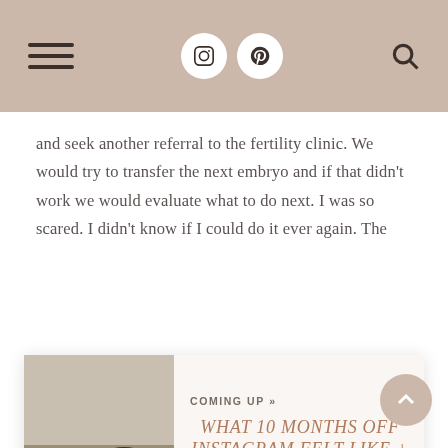Navigation header with hamburger menu, Instagram and Pinterest icons, and search icon
and seek another referral to the fertility clinic.  We would try to transfer the next embryo and if that didn't work we would evaluate what to do next.  I was so scared. I didn't know if I could do it ever again.  The
[Figure (photo): Woman with horse in a field, wearing a pink/orange skirt]
COMING UP »
WHAT 10 MONTHS OFF INSTAGRAM FELT LIKE  + WHY I DID IT
that was only familiar from when I was first pregnant with Harlow.  I had to stop a workout because I just felt so uncomfortable.  Tim thought it was